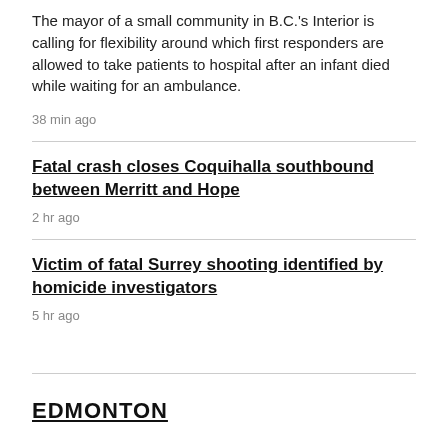The mayor of a small community in B.C.'s Interior is calling for flexibility around which first responders are allowed to take patients to hospital after an infant died while waiting for an ambulance.
38 min ago
Fatal crash closes Coquihalla southbound between Merritt and Hope
2 hr ago
Victim of fatal Surrey shooting identified by homicide investigators
5 hr ago
EDMONTON